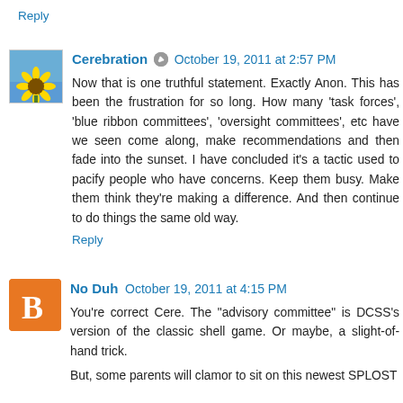Reply
Cerebration  October 19, 2011 at 2:57 PM
Now that is one truthful statement. Exactly Anon. This has been the frustration for so long. How many 'task forces', 'blue ribbon committees', 'oversight committees', etc have we seen come along, make recommendations and then fade into the sunset. I have concluded it's a tactic used to pacify people who have concerns. Keep them busy. Make them think they're making a difference. And then continue to do things the same old way.
Reply
No Duh  October 19, 2011 at 4:15 PM
You're correct Cere. The "advisory committee" is DCSS's version of the classic shell game. Or maybe, a slight-of-hand trick.
But, some parents will clamor to sit on this newest SPLOST